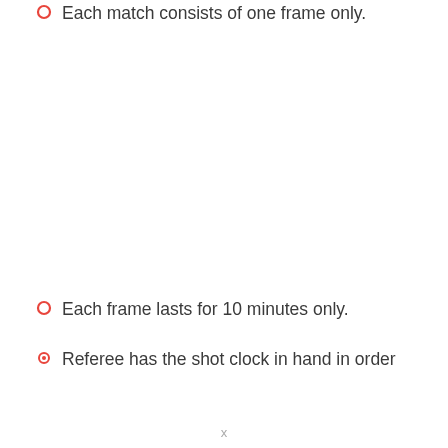Each match consists of one frame only.
Each frame lasts for 10 minutes only.
Referee has the shot clock in hand in order